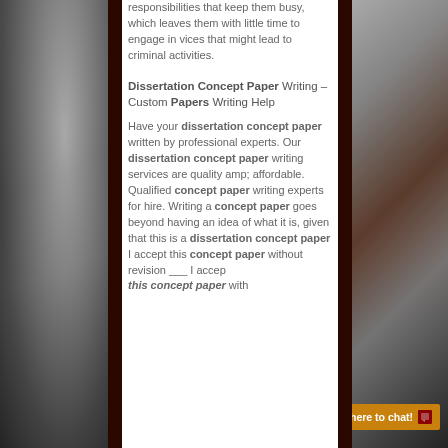[Figure (photo): Left side decorative photo panel showing dark textured surface]
responsibilities that keep them busy, which leaves them with little time to engage in vices that might lead to criminal activities.
Dissertation Concept Paper Writing – Custom Papers Writing Help
Have your dissertation concept paper written by professional experts. Our dissertation concept paper writing services are quality amp; affordable. Qualified concept paper writing experts for hire. Writing a concept paper goes beyond having an idea of what it is, given that this is a dissertation concept paper I accept this concept paper without revision ___ I accept this concept paper with
[Figure (photo): Right side decorative photo panel showing dark textured surface]